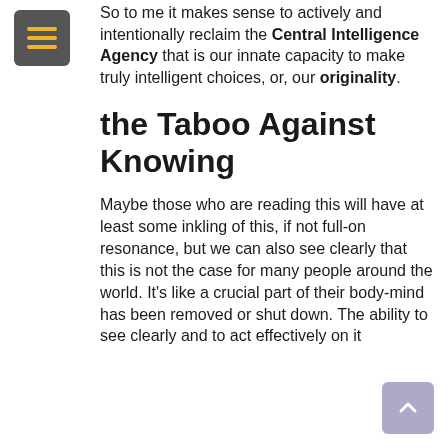[Figure (other): Hamburger menu button icon: dark gray square with three horizontal yellow/gold lines]
So to me it makes sense to actively and intentionally reclaim the Central Intelligence Agency that is our innate capacity to make truly intelligent choices, or, our originality.
the Taboo Against Knowing
Maybe those who are reading this will have at least some inkling of this, if not full-on resonance, but we can also see clearly that this is not the case for many people around the world. It's like a crucial part of their body-mind has been removed or shut down. The ability to see clearly and to act effectively on it
[Figure (other): Scroll-to-top button: rounded rectangle with upward chevron arrow, lavender/purple color]